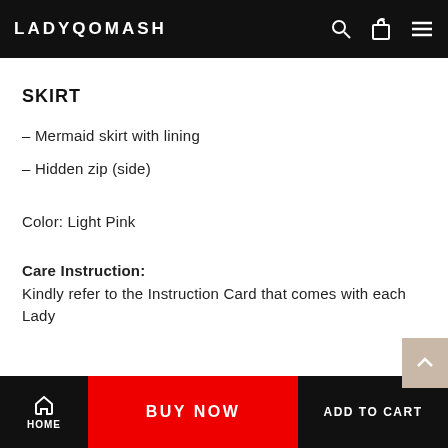LADYQOMASH
SKIRT
– Mermaid skirt with lining
– Hidden zip (side)
Color: Light Pink
Care Instruction:
Kindly refer to the Instruction Card that comes with each Lady
HOME | BUY NOW | ADD TO CART